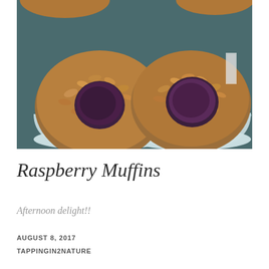[Figure (photo): Overhead close-up photo of two raspberry oat muffins in white fluted paper liners on a dark teal/grey background. Each muffin has a crumbly golden-brown oat top with a dark berry center visible.]
Raspberry Muffins
Afternoon delight!!
AUGUST 8, 2017
TAPPINGIN2NATURE